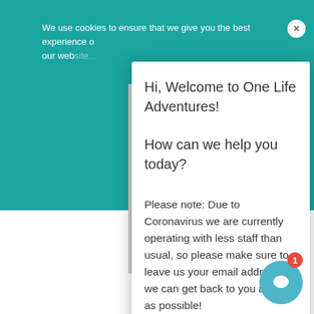We use cookies to ensure that we give you the best experience on our website...
[Figure (screenshot): Chat popup overlay for One Life Adventures with greeting and coronavirus notice]
Hi, Welcome to One Life Adventures!
How can we help you today?
Please note: Due to Coronavirus we are currently operating with less staff than usual, so please make sure to leave us your email address so we can get back to you as soon as possible!
One Life   just now
KUS
Kushi katsu popul
great is the sauce. The sauce has a Worcestershire sauce-like flavour. A crunchy fried stick dipped sauce is incredibly tasty.